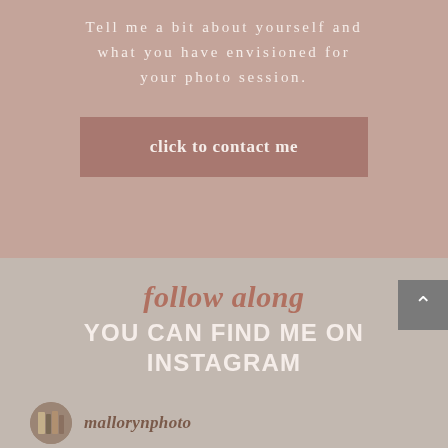Tell me a bit about yourself and what you have envisioned for your photo session.
click to contact me
follow along
YOU CAN FIND ME ON INSTAGRAM
mallorynphoto